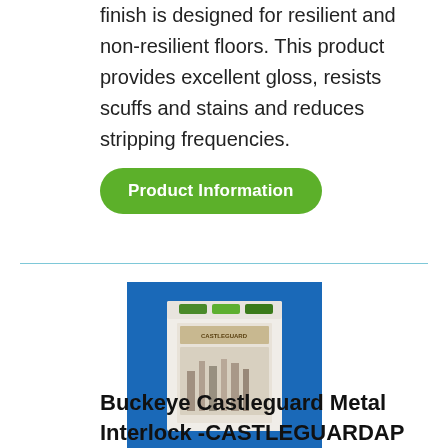finish is designed for resilient and non-resilient floors. This product provides excellent gloss, resists scuffs and stains and reduces stripping frequencies.
Product Information
[Figure (photo): Product photo of Buckeye Castleguard Metal Interlock in a white box with blue background]
Buckeye Castleguard Metal Interlock -CASTLEGUARDAP